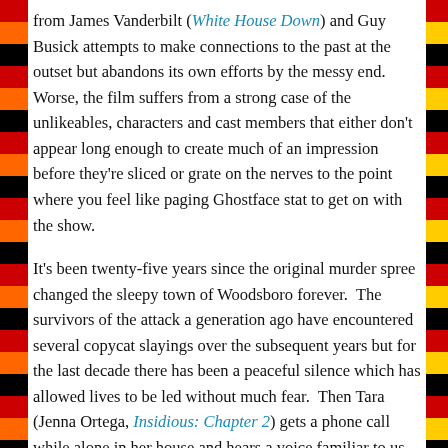from James Vanderbilt (White House Down) and Guy Busick attempts to make connections to the past at the outset but abandons its own efforts by the messy end. Worse, the film suffers from a strong case of the unlikeables, characters and cast members that either don't appear long enough to create much of an impression before they're sliced or grate on the nerves to the point where you feel like paging Ghostface stat to get on with the show.
It's been twenty-five years since the original murder spree changed the sleepy town of Woodsboro forever. The survivors of the attack a generation ago have encountered several copycat slayings over the subsequent years but for the last decade there has been a peaceful silence which has allowed lives to be led without much fear. Then Tara (Jenna Ortega, Insidious: Chapter 2) gets a phone call while alone in her house and hears a voice familiar to us but unfamiliar to her. Remember, Stab (the movie within Scream 2 based off of the events in Scream 1) came out over two decades before and its sequels have long since fizzled out. Poor Tara should have stayed up to date on her old school horror trivia because...